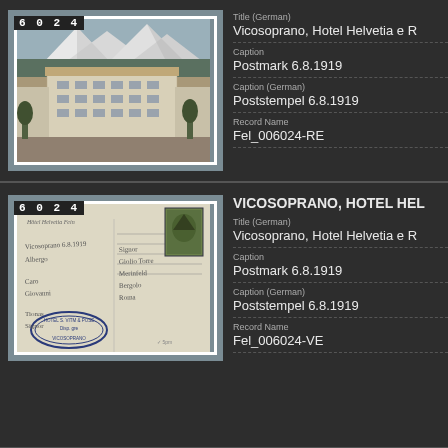[Figure (photo): Black and white photograph of a large hotel building (Hotel Helvetia) in an alpine setting with mountains behind, labeled 6024]
Title (German)
Vicosoprano, Hotel Helvetia e R
Caption
Postmark 6.8.1919
Caption (German)
Poststempel 6.8.1919
Record Name
Fel_006024-RE
[Figure (photo): Photograph of the reverse/back of a postcard labeled 6024, showing handwriting, a green postage stamp, and an oval hotel stamp for Vicosoprano]
VICOSOPRANO, HOTEL HEL
Title (German)
Vicosoprano, Hotel Helvetia e R
Caption
Postmark 6.8.1919
Caption (German)
Poststempel 6.8.1919
Record Name
Fel_006024-VE